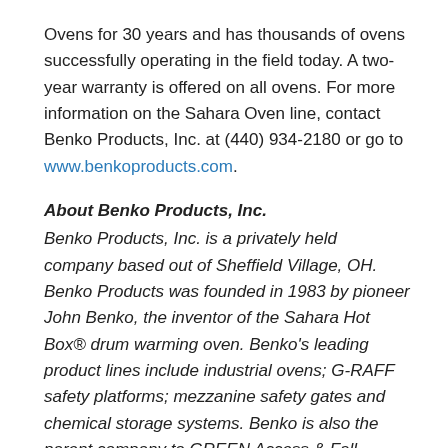Ovens for 30 years and has thousands of ovens successfully operating in the field today. A two-year warranty is offered on all ovens. For more information on the Sahara Oven line, contact Benko Products, Inc. at (440) 934-2180 or go to www.benkoproducts.com.
About Benko Products, Inc.
Benko Products, Inc. is a privately held company based out of Sheffield Village, OH. Benko Products was founded in 1983 by pioneer John Benko, the inventor of the Sahara Hot Box® drum warming oven. Benko's leading product lines include industrial ovens; G-RAFF safety platforms; mezzanine safety gates and chemical storage systems. Benko is also the parent company to GREEN Access & Fall Protection, a leading manufacturer of gangways for tank trucks and rail cars as well as self-leveling stair applications.